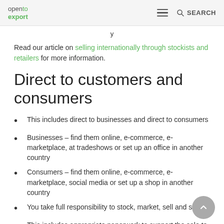open to export | SEARCH
Read our article on selling internationally through stockists and retailers for more information.
Direct to customers and consumers
This includes direct to businesses and direct to consumers
Businesses – find them online, e-commerce, e-marketplace, at tradeshows or set up an office in another country
Consumers – find them online, e-commerce, e-marketplace, social media or set up a shop in another country
You take full responsibility to stock, market, sell and ship
This includes appropriate paperwork to support the sale to the end consumer and handling support and returns